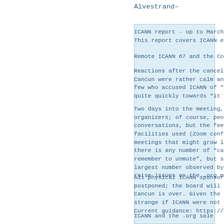Alvestrand–
ICANN report - up to March 11, 2020
This report covers ICANN events from Feb
Remote ICANN 67 and the Covid-19 crisis
Reactions after the cancellation of the f
Cancun were rather calm and quite support
few who accused ICANN of “panicking”, but
quite quickly towards “it was a Good Thin
Two days into the meeting, there has beer
organizers; of course, people miss the in
conversations, but the feeling is that “w
facilities used (Zoom conference for up t
meetings that might grow larger) seem to
there is any number of “can you hear me r
remember to unmute”, but such is the natu
largest number observed by me in a meetir
raise issues on the .org matter).
All physical ICANN sponsored meetings in
postponed; the board will evaluate the si
Cancun is over. Given the news from the r
strange if ICANN were not to cancel April
Current guidance: https://www.icann.org/n
ICANN and the .org sale